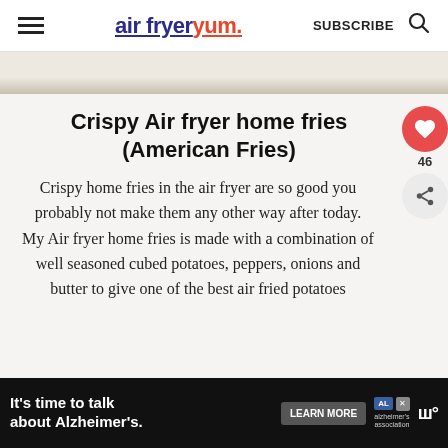air fryer yum. SUBSCRIBE
[Figure (photo): Partial view of food/fries photo at top]
Crispy Air fryer home fries (American Fries)
Crispy home fries in the air fryer are so good you probably not make them any other way after today. My Air fryer home fries is made with a combination of well seasoned cubed potatoes, peppers, onions and butter to give one of the best air fried potatoes
Get this recipe
[Figure (photo): What's Next thumbnail - Air fryer sliced potatoes]
WHAT'S NEXT → Air fryer sliced potatoes...
It's time to talk about Alzheimer's. LEARN MORE